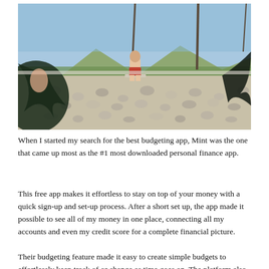[Figure (photo): Outdoor photo of a person in swim shorts standing on a diving board over a large area covered in coins or rocks, surrounded by palm trees and tropical foliage, with mountains and blue sky in the background.]
When I started my search for the best budgeting app, Mint was the one that came up most as the #1 most downloaded personal finance app.
This free app makes it effortless to stay on top of your money with a quick sign-up and set-up process. After a short set up, the app made it possible to see all of my money in one place, connecting all my accounts and even my credit score for a complete financial picture.
Their budgeting feature made it easy to create simple budgets to effortlessly keep track of or change as time goes on. The platform also